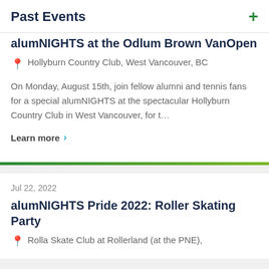Past Events
alumNIGHTS at the Odlum Brown VanOpen
Hollyburn Country Club, West Vancouver, BC
On Monday, August 15th, join fellow alumni and tennis fans for a special alumNIGHTS at the spectacular Hollyburn Country Club in West Vancouver, for t…
Learn more
Jul 22, 2022
alumNIGHTS Pride 2022: Roller Skating Party
Rolla Skate Club at Rollerland (at the PNE),